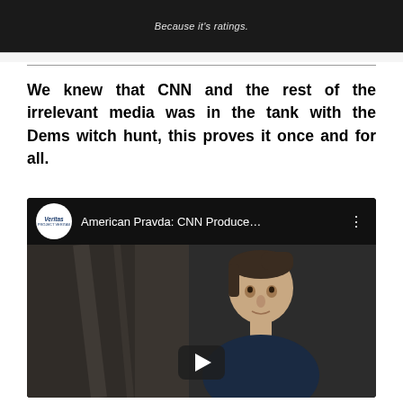[Figure (screenshot): Dark video frame with white italic text reading 'Because it's ratings.' overlaid at top center]
We knew that CNN and the rest of the irrelevant media was in the tank with the Dems witch hunt, this proves it once and for all.
[Figure (screenshot): YouTube video embed titled 'American Pravda: CNN Produce...' with Veritas channel logo and video thumbnail showing a man in a dark polo shirt, with a play button overlay]